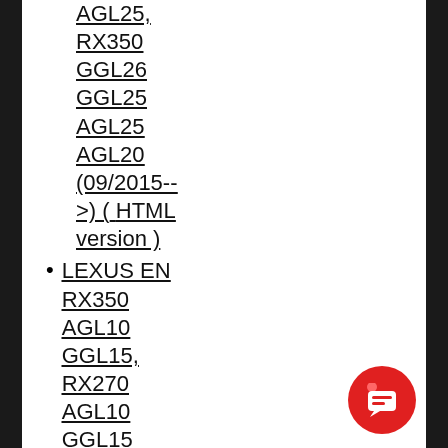AGL25, RX350 GGL26 GGL25 AGL25 AGL20 (09/2015-- >) ( HTML version )
LEXUS EN RX350 AGL10 GGL15, RX270 AGL10 GGL15 (03/2012--